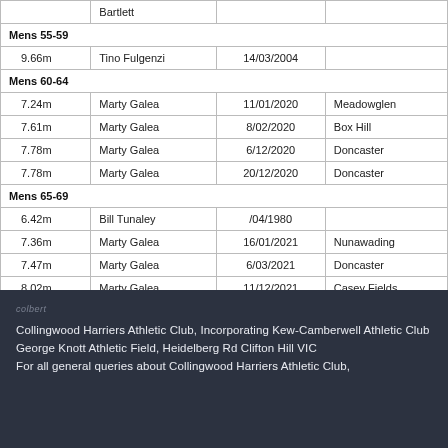|  | Bartlett |  |  |
| --- | --- | --- | --- |
| Mens 55-59 |  |  |  |
| 9.66m | Tino Fulgenzi | 14/03/2004 |  |
| Mens 60-64 |  |  |  |
| 7.24m | Marty Galea | 11/01/2020 | Meadowglen |
| 7.61m | Marty Galea | 8/02/2020 | Box Hill |
| 7.78m | Marty Galea | 6/12/2020 | Doncaster |
| 7.78m | Marty Galea | 20/12/2020 | Doncaster |
| Mens 65-69 |  |  |  |
| 6.42m | Bill Tunaley | /04/1980 |  |
| 7.36m | Marty Galea | 16/01/2021 | Nunawading |
| 7.47m | Marty Galea | 6/03/2021 | Doncaster |
| 8.02m | Marty Galea | 11/12/2021 | Casey Fields |
Collingwood Harriers Athletic Club, Incorporating Kew-Camberwell Athletic Club
George Knott Athletic Field, Heidelberg Rd Clifton Hill VIC
For all general queries about Collingwood Harriers Athletic Club,